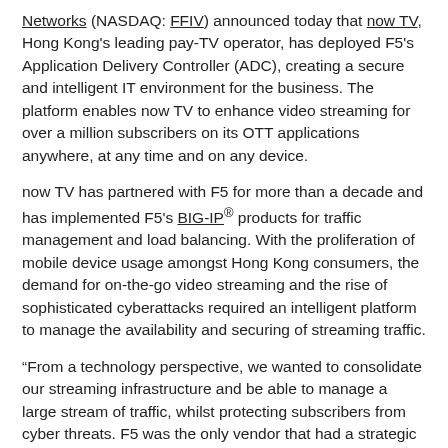Networks (NASDAQ: FFIV) announced today that now TV, Hong Kong's leading pay-TV operator, has deployed F5's Application Delivery Controller (ADC), creating a secure and intelligent IT environment for the business. The platform enables now TV to enhance video streaming for over a million subscribers on its OTT applications anywhere, at any time and on any device.
now TV has partnered with F5 for more than a decade and has implemented F5's BIG-IP® products for traffic management and load balancing. With the proliferation of mobile device usage amongst Hong Kong consumers, the demand for on-the-go video streaming and the rise of sophisticated cyberattacks required an intelligent platform to manage the availability and securing of streaming traffic.
“From a technology perspective, we wanted to consolidate our streaming infrastructure and be able to manage a large stream of traffic, whilst protecting subscribers from cyber threats. F5 was the only vendor that had a strategic architectural approach to meet our various business concerns